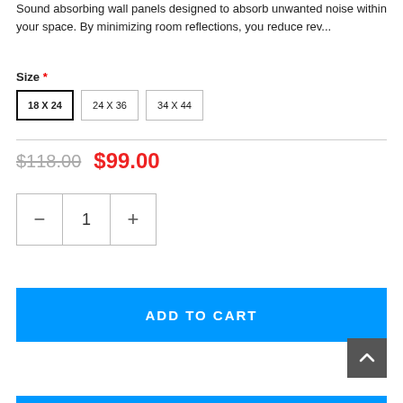Sound absorbing wall panels designed to absorb unwanted noise within your space. By minimizing room reflections, you reduce rev...
Size *
18 X 24 (selected)
24 X 36
34 X 44
$118.00  $99.00
[Figure (other): Quantity selector with minus button, quantity display showing 1, and plus button]
ADD TO CART
[Figure (other): Back to top button (dark grey square with upward chevron arrow)]